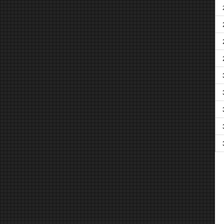| Level | Blinds |
| --- | --- |
| 26 | 25000 / 50000 |
| 27 | 30000 / 60000 |
| 28 | 40000 / 80000 |
| 29 | 50000 / 100000 |
| 30 | 60000 / 120000 |
| 31 | 80000 / 160000 |
| 32 | 100000 / 200000 |
| 33 | 120000 / 240000 |
| 34 | 150000 / 300000 |
Host Casino
Name: Rio All-Suite Hotel & Casino
Address: 3700 W. Flamingo Road - Las Vegas, NV
Phone: 702-777-7777
Web: http://www.riolasvegas.com/casinos/rio/hotel-c
Help Card Player keep its database accurate. Em or omissions.
POPULAR PAGES   POKER TOOLS   POKER TO